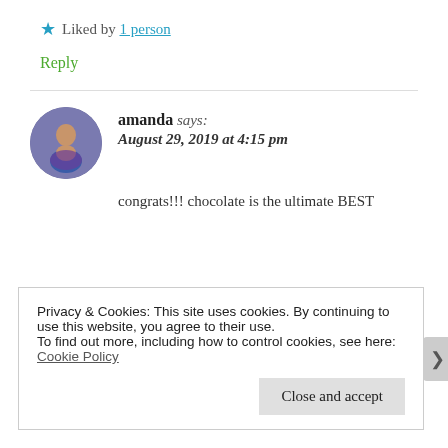★ Liked by 1 person
Reply
amanda says: August 29, 2019 at 4:15 pm
congrats!!! chocolate is the ultimate BEST
Privacy & Cookies: This site uses cookies. By continuing to use this website, you agree to their use.
To find out more, including how to control cookies, see here: Cookie Policy
Close and accept